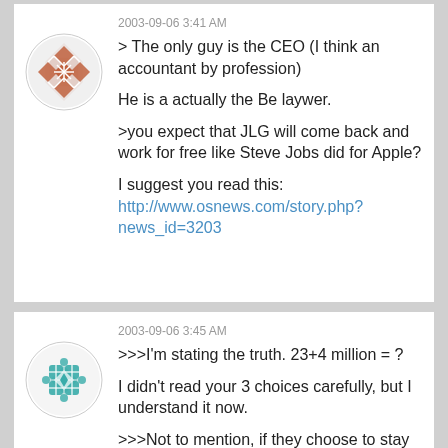2003-09-06 3:41 AM
> The only guy is the CEO (I think an accountant by profession)
He is a actually the Be laywer.
>you expect that JLG will come back and work for free like Steve Jobs did for Apple?
I suggest you read this:
http://www.osnews.com/story.php?news_id=3203
2003-09-06 3:45 AM
>>>I'm stating the truth. 23+4 million = ?
I didn't read your 3 choices carefully, but I understand it now.
>>>Not to mention, if they choose to stay in, which they can do(shareholders can do this), they can make more potientially than they have ever made.
Again, the shareholders has NO CHOICE